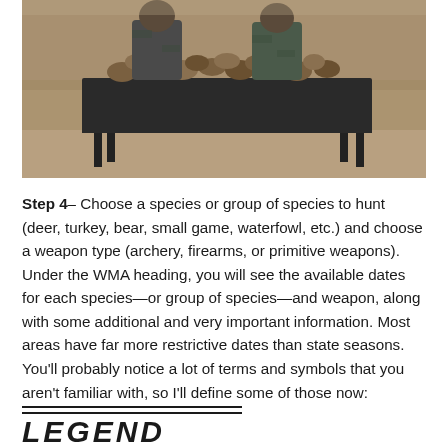[Figure (photo): Photo of hunters standing behind a table outdoors displaying harvested game (birds/waterfowl) laid out on a black folding table. Dry grass and dirt ground visible in background.]
Step 4– Choose a species or group of species to hunt (deer, turkey, bear, small game, waterfowl, etc.) and choose a weapon type (archery, firearms, or primitive weapons). Under the WMA heading, you will see the available dates for each species—or group of species—and weapon, along with some additional and very important information. Most areas have far more restrictive dates than state seasons. You'll probably notice a lot of terms and symbols that you aren't familiar with, so I'll define some of those now:
LEGEND